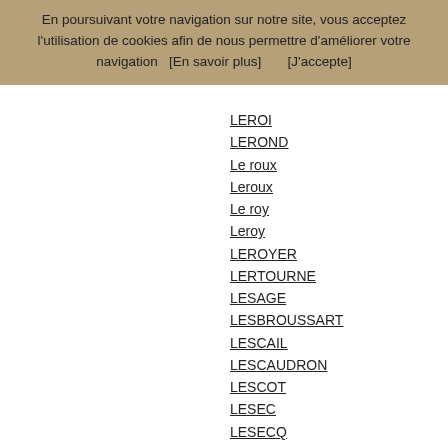En poursuivant votre navigation sur notre site, vous acceptez l'utilisation de cookies afin de nous permettre d'améliorer votre navigation   [En savoir plus]        [J'accepte]
LEROI
LEROND
Le roux
Leroux
Le roy
Leroy
LEROYER
LERTOURNE
LESAGE
LESBROUSSART
LESCAIL
LESCAUDRON
LESCOT
LESEC
LESECQ
LESELLIER
LESENNE
Leseur
Lesieur
LESLUIN
LESNE
LESOI...